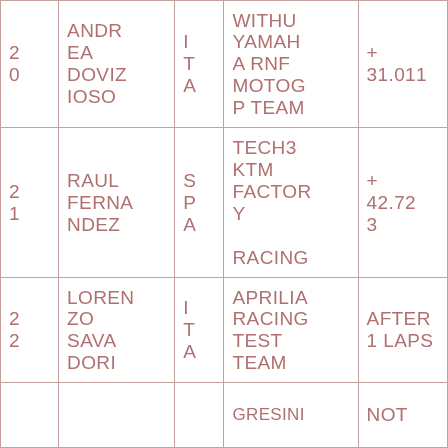| # | Name | Nat | Team | Time/Gap |
| --- | --- | --- | --- | --- |
| 20 | ANDREA DOVIZIOSO | ITA | WITHU YAMAHA RNF MOTOGP TEAM | + 31.011 |
| 21 | RAUL FERNANDEZ | SPA | TECH3 KTM FACTORY RACING | + 42.723 |
| 22 | LORENZO SAVADORI | ITA | APRILIA RACING TEST TEAM | AFTER 1 LAPS |
|  |  |  | GRESINI... | NOT |